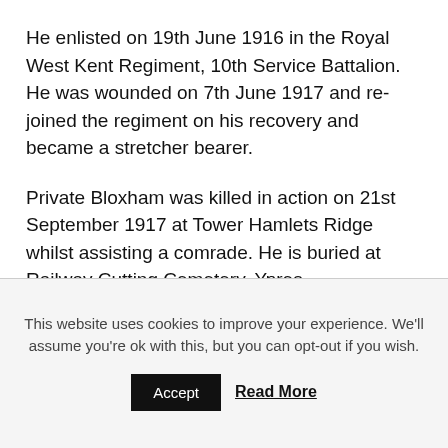He enlisted on 19th June 1916 in the Royal West Kent Regiment, 10th Service Battalion. He was wounded on 7th June 1917 and re-joined the regiment on his recovery and became a stretcher bearer.
Private Bloxham was killed in action on 21st September 1917 at Tower Hamlets Ridge whilst assisting a comrade. He is buried at Railway Cutting Cemetery, Ypres.
He left a wife and two sons.
This website uses cookies to improve your experience. We'll assume you're ok with this, but you can opt-out if you wish.